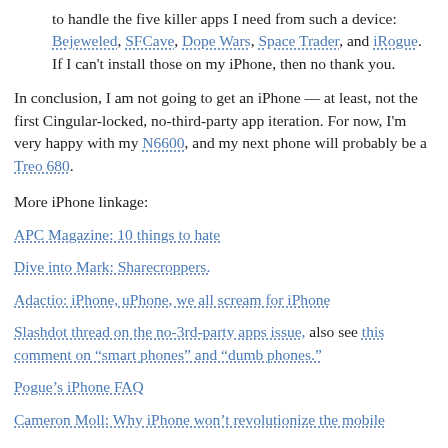to handle the five killer apps I need from such a device: Bejeweled, SFCave, Dope Wars, Space Trader, and iRogue. If I can't install those on my iPhone, then no thank you.
In conclusion, I am not going to get an iPhone — at least, not the first Cingular-locked, no-third-party app iteration. For now, I'm very happy with my N6600, and my next phone will probably be a Treo 680.
More iPhone linkage:
APC Magazine: 10 things to hate
Dive into Mark: Sharecroppers.
Adactio: iPhone, uPhone, we all scream for iPhone
Slashdot thread on the no-3rd-party apps issue, also see this comment on “smart phones” and “dumb phones.”
Pogue’s iPhone FAQ
Cameron Moll: Why iPhone won’t revolutionize the mobile